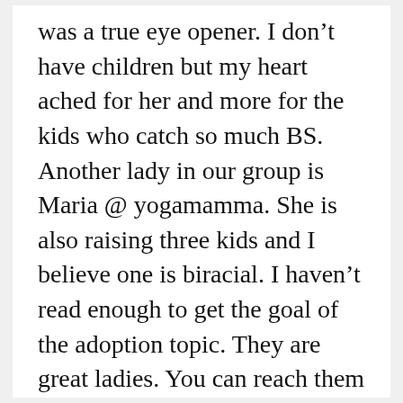was a true eye opener. I don't have children but my heart ached for her and more for the kids who catch so much BS. Another lady in our group is Maria @ yogamamma. She is also raising three kids and I believe one is biracial. I haven't read enough to get the goal of the adoption topic. They are great ladies. You can reach them thru the group site or directly. If you have to pick one for